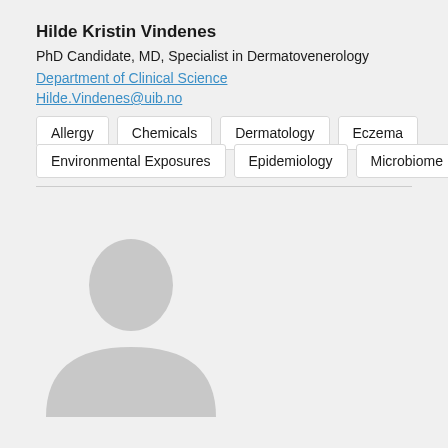Hilde Kristin Vindenes
PhD Candidate, MD, Specialist in Dermatovenerology
Department of Clinical Science
Hilde.Vindenes@uib.no
Allergy
Chemicals
Dermatology
Eczema
Environmental Exposures
Epidemiology
Microbiome
[Figure (illustration): Default profile avatar silhouette placeholder image]